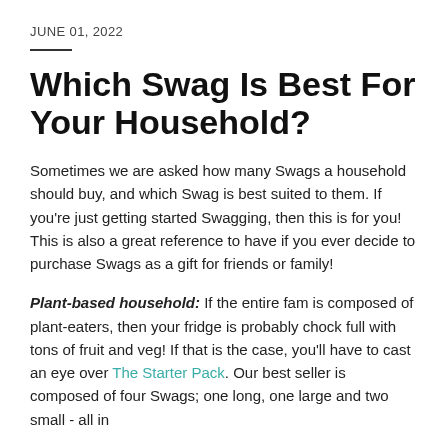JUNE 01, 2022
Which Swag Is Best For Your Household?
Sometimes we are asked how many Swags a household should buy, and which Swag is best suited to them. If you're just getting started Swagging, then this is for you! This is also a great reference to have if you ever decide to purchase Swags as a gift for friends or family!
Plant-based household: If the entire fam is composed of plant-eaters, then your fridge is probably chock full with tons of fruit and veg! If that is the case, you'll have to cast an eye over The Starter Pack. Our best seller is composed of four Swags; one long, one large and two small - all in